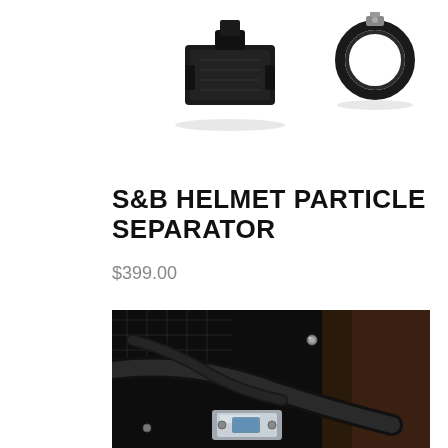[Figure (photo): Product photo of S&B Helmet Particle Separator components on white background — black rectangular filter body and a circular clamp/ring component]
S&B HELMET PARTICLE SEPARATOR
$399.00
[Figure (photo): Close-up photo showing the helmet particle separator installed — black hoses, metal bracket/clamp hardware, suede/leather interior surface visible]